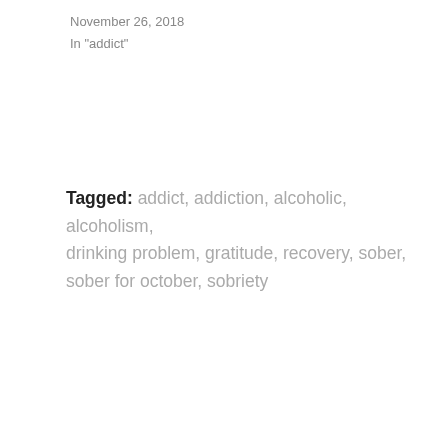November 26, 2018
In "addict"
Tagged: addict, addiction, alcoholic, alcoholism, drinking problem, gratitude, recovery, sober, sober for october, sobriety
Published by annastk76
I used to drink a lot of wine. View all posts by
[Figure (photo): Circular avatar photo of a woman with glasses and blonde hair]
Privacy & Cookies: This site uses cookies. By continuing to use this website, you agree to their use.
To find out more, including how to control cookies, see here: Cookie Policy
Close and accept